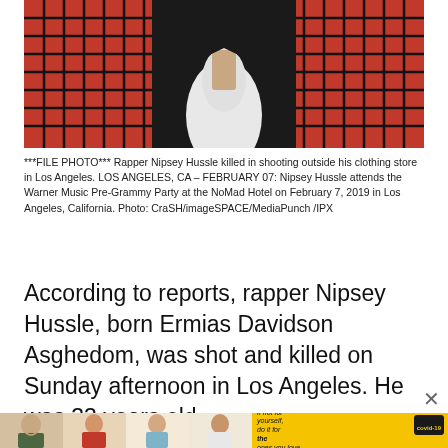[Figure (photo): Nipsey Hussle at a dark-background event photo. He appears wearing a black outfit. On both sides, red latticed/mesh panels are visible. His white shirt/top is visible in the center.]
***FILE PHOTO*** Rapper Nipsey Hussle killed in shooting outside his clothing store in Los Angeles. LOS ANGELES, CA - FEBRUARY 07: Nipsey Hussle attends the Warner Music Pre-Grammy Party at the NoMad Hotel on February 7, 2019 in Los Angeles, California. Photo: CraSH/imageSPACE/MediaPunch /IPX
According to reports, rapper Nipsey Hussle, born Ermias Davidson Asghedom, was shot and killed on Sunday afternoon in Los Angeles. He was 33 years old.
[Figure (photo): Advertisement banner with four photos of people and a yellow COVID-19 vaccination promotion panel reading: If not for yourself, do it for the ones you love.]